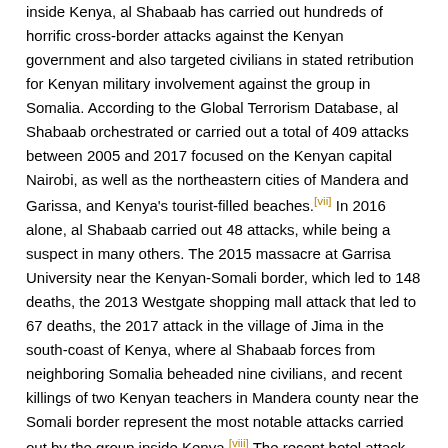inside Kenya, al Shabaab has carried out hundreds of horrific cross-border attacks against the Kenyan government and also targeted civilians in stated retribution for Kenyan military involvement against the group in Somalia. According to the Global Terrorism Database, al Shabaab orchestrated or carried out a total of 409 attacks between 2005 and 2017 focused on the Kenyan capital Nairobi, as well as the northeastern cities of Mandera and Garissa, and Kenya's tourist-filled beaches.[vii] In 2016 alone, al Shabaab carried out 48 attacks, while being a suspect in many others. The 2015 massacre at Garrisa University near the Kenyan-Somali border, which led to 148 deaths, the 2013 Westgate shopping mall attack that led to 67 deaths, the 2017 attack in the village of Jima in the south-coast of Kenya, where al Shabaab forces from neighboring Somalia beheaded nine civilians, and recent killings of two Kenyan teachers in Mandera county near the Somali border represent the most notable attacks carried out by the group inside Kenya.[viii] The recent hotel attack now joins this group. (See Chart 1 below.)
Al Shabaab terror attacks inside Kenya have had significant